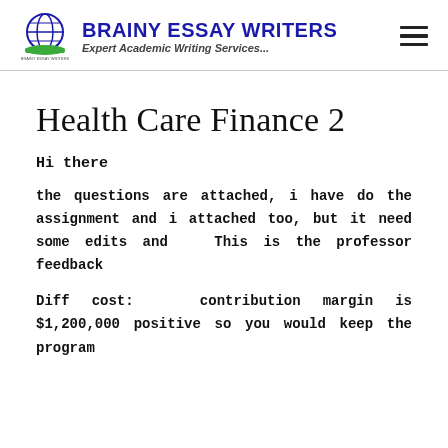BRAINY ESSAY WRITERS — Expert Academic Writing Services...
Health Care Finance 2
Hi there
the questions are attached, i have do the assignment and i attached too, but it need some edits and  This is the professor feedback
Diff cost:  contribution margin is $1,200,000 positive so you would keep the program